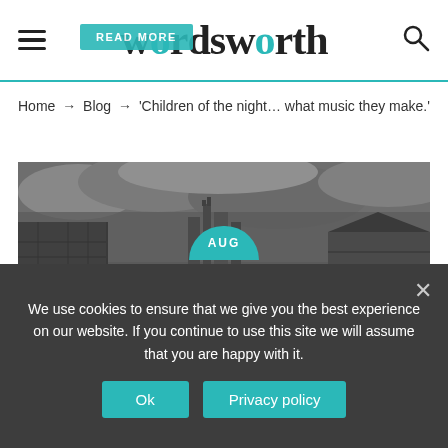wordsworth
Home → Blog → 'Children of the night… what music they make.'
[Figure (photo): Black and white photograph of a graveyard with tombstones in the foreground and gothic ruins of a church or abbey in the background under a dramatic cloudy sky]
AUG
We use cookies to ensure that we give you the best experience on our website. If you continue to use this site we will assume that you are happy with it.
Ok
Privacy policy